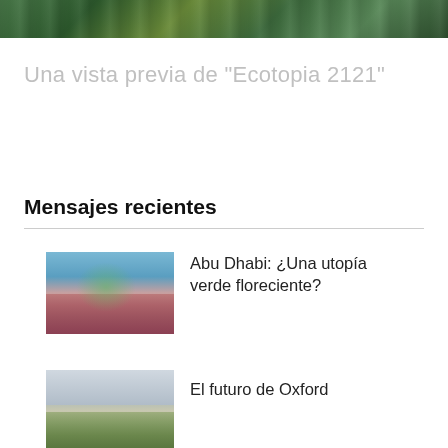[Figure (photo): Top banner image showing green urban/nature scene with trees and buildings]
Una vista previa de "Ecotopia 2121"
Mensajes recientes
[Figure (photo): Thumbnail image of Abu Dhabi green utopia concept with colorful dome structures and trees]
Abu Dhabi: ¿Una utopía verde floreciente?
[Figure (photo): Thumbnail image of Oxford future landscape with fields and sky]
El futuro de Oxford